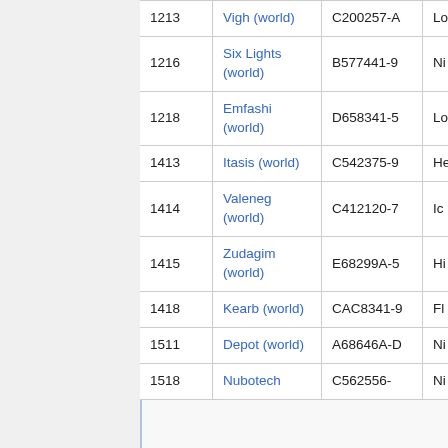| Coord | Name | Code | Tags |
| --- | --- | --- | --- |
| 1213 | Vigh (world) | C200257-A | Lo Va |
| 1216 | Six Lights (world) | B577441-9 | Ni Pa |
| 1218 | Emfashi (world) | D658341-5 | Lo |
| 1413 | Itasis (world) | C542375-9 | He Lo Asla9 |
| 1414 | Valeneg (world) | C412120-7 | Ic Lo |
| 1415 | Zudagim (world) | E68299A-5 | Hi Pr |
| 1418 | Kearb (world) | CAC8341-9 | Fl Lo |
| 1511 | Depot (world) | A68646A-D | Ni Ga (Miim Mr |
| 1518 | Nubotech | C562556- | Ni Pa |